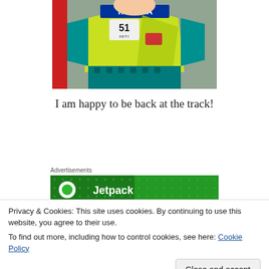[Figure (photo): Child wearing a Yamaha motocross jersey (neon yellow/green and teal colors, number 51, 'FIFTY' text) standing in front of a grey textured wall. A red sleeve is visible on the left side.]
I am happy to be back at the track!
Advertisements
[Figure (logo): Jetpack advertisement banner with green background, white dots pattern, circular white logo icon, and 'Jetpack' brand text in white.]
Privacy & Cookies: This site uses cookies. By continuing to use this website, you agree to their use.
To find out more, including how to control cookies, see here: Cookie Policy
Close and accept